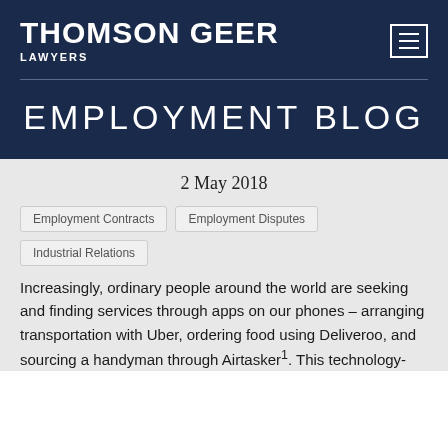THOMSON GEER LAWYERS
EMPLOYMENT BLOG
2 May 2018
Employment Contracts
Employment Disputes
Industrial Relations
Increasingly, ordinary people around the world are seeking and finding services through apps on our phones – arranging transportation with Uber, ordering food using Deliveroo, and sourcing a handyman through Airtasker1. This technology-